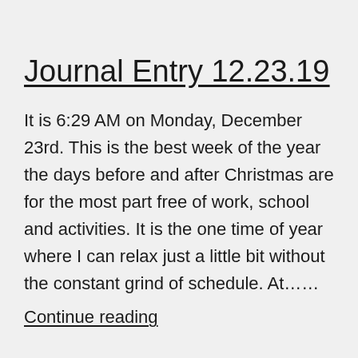Journal Entry 12.23.19
It is 6:29 AM on Monday, December 23rd. This is the best week of the year the days before and after Christmas are for the most part free of work, school and activities. It is the one time of year where I can relax just a little bit without the constant grind of schedule. At……
Continue reading